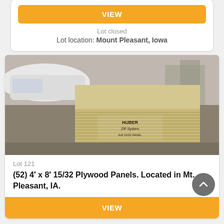VIEW
Lot closed
Lot location: Mount Pleasant, Iowa
[Figure (photo): Stack of plywood panels (52 sheets of 4x8 15/32 plywood) in a warehouse setting with a white car visible in the background]
Lot 121
(52) 4′ x 8′ 15/32 Plywood Panels. Located in Mt. Pleasant, IA.
VIEW